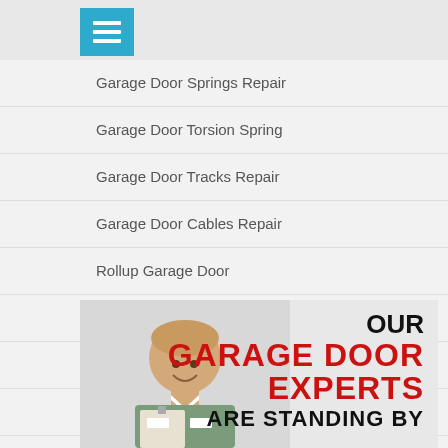[Figure (other): Hamburger menu icon (three white horizontal bars on blue background)]
Garage Door Springs Repair
Garage Door Torsion Spring
Garage Door Tracks Repair
Garage Door Cables Repair
Rollup Garage Door
Commercial Garage Door Repair
Gate Repair
Gate Opener Repair
Garage Door Contractor
Contact Us
[Figure (photo): Promo banner with a smiling male technician in green uniform holding a clipboard on the left, and text 'OUR GARAGE DOOR EXPERTS ARE STANDING BY' on the right]